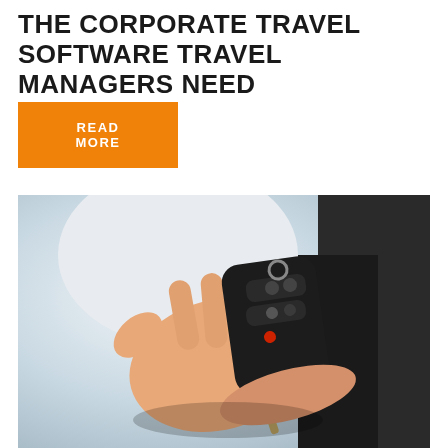THE CORPORATE TRAVEL SOFTWARE TRAVEL MANAGERS NEED
READ MORE
[Figure (photo): A person's hand holding out a car key fob with keys, shown against a light blurred background with a dark jacket visible on the right side.]